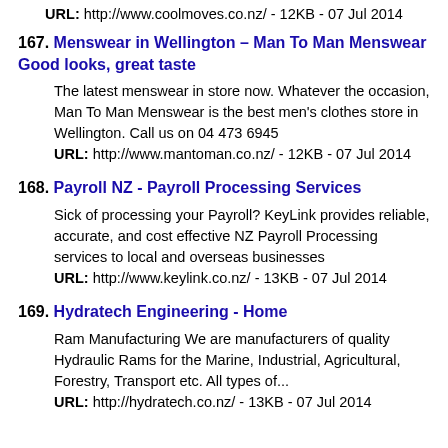URL: http://www.coolmoves.co.nz/ - 12KB - 07 Jul 2014
167. Menswear in Wellington – Man To Man Menswear Good looks, great taste
The latest menswear in store now. Whatever the occasion, Man To Man Menswear is the best men's clothes store in Wellington. Call us on 04 473 6945 URL: http://www.mantoman.co.nz/ - 12KB - 07 Jul 2014
168. Payroll NZ - Payroll Processing Services
Sick of processing your Payroll? KeyLink provides reliable, accurate, and cost effective NZ Payroll Processing services to local and overseas businesses URL: http://www.keylink.co.nz/ - 13KB - 07 Jul 2014
169. Hydratech Engineering - Home
Ram Manufacturing We are manufacturers of quality Hydraulic Rams for the Marine, Industrial, Agricultural, Forestry, Transport etc. All types of... URL: http://hydratech.co.nz/ - 13KB - 07 Jul 2014